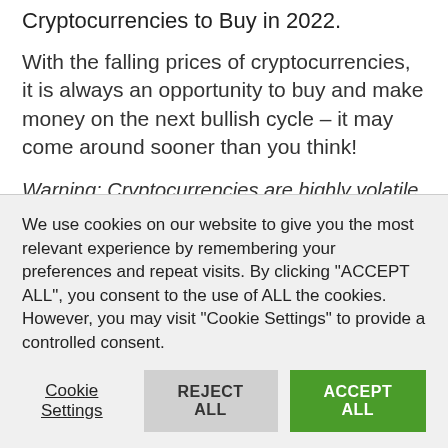Cryptocurrencies to Buy in 2022.
With the falling prices of cryptocurrencies, it is always an opportunity to buy and make money on the next bullish cycle – it may come around sooner than you think!
Warning: Cryptocurrencies are highly volatile, and your capital is at risk. All ideas in this article do not constitute financial advice and you should perform
We use cookies on our website to give you the most relevant experience by remembering your preferences and repeat visits. By clicking "ACCEPT ALL", you consent to the use of ALL the cookies. However, you may visit "Cookie Settings" to provide a controlled consent.